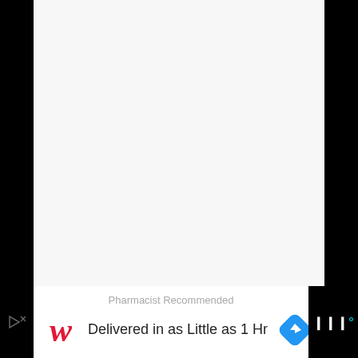[Figure (screenshot): Mostly blank/white content area representing a webpage screenshot with light gray background]
[Figure (other): Walgreens advertisement banner: 'Pharmacist Recommended' text above, Walgreens cursive W logo, text 'Delivered in as Little as 1 Hr', blue navigation arrow icon, and Waze logo on black background on right]